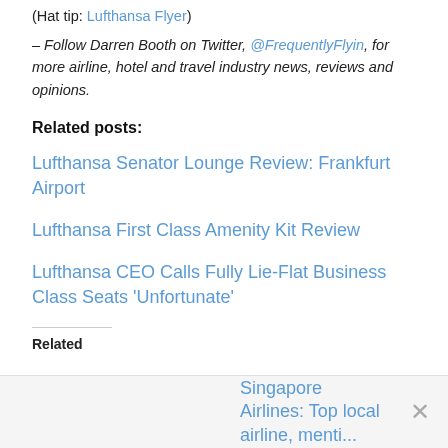(Hat tip: Lufthansa Flyer)
– Follow Darren Booth on Twitter, @FrequentlyFlyin, for more airline, hotel and travel industry news, reviews and opinions.
Related posts:
Lufthansa Senator Lounge Review: Frankfurt Airport
Lufthansa First Class Amenity Kit Review
Lufthansa CEO Calls Fully Lie-Flat Business Class Seats 'Unfortunate'
Related
Singapore Airlines: Top local airline, mentioned